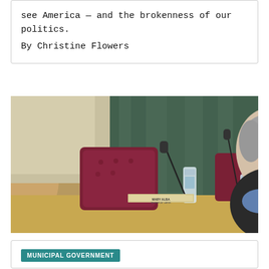see America — and the brokenness of our politics.
By Christine Flowers
[Figure (photo): A woman with long gray hair sits at a council dais, resting her head on her hand, in front of dark green curtains. There is a nameplate reading 'MARY ALBA' and water bottles visible on the desk. Dark leather chairs are visible.]
MUNICIPAL GOVERNMENT